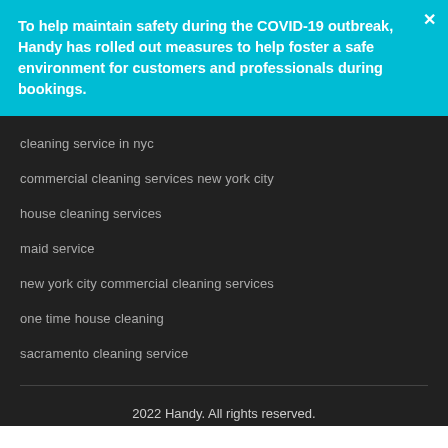To help maintain safety during the COVID-19 outbreak, Handy has rolled out measures to help foster a safe environment for customers and professionals during bookings.
cleaning service in nyc
commercial cleaning services new york city
house cleaning services
maid service
new york city commercial cleaning services
one time house cleaning
sacramento cleaning service
2022 Handy. All rights reserved.
Contact   Privacy   CA Pre-Collection Notice   Do Not Sell   Cookies   Terms   Cancellation Policy   Accessibility Tools